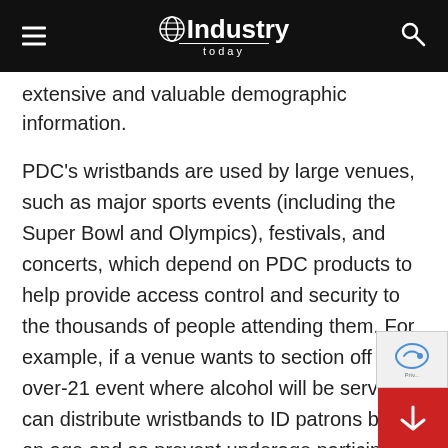Industry Today
extensive and valuable demographic information.
PDC's wristbands are used by large venues, such as major sports events (including the Super Bowl and Olympics), festivals, and concerts, which depend on PDC products to help provide access control and security to the thousands of people attending them. For example, if a venue wants to section off an over-21 event where alcohol will be served, it can distribute wristbands to ID patrons based on age and so prevent underage participants from entering these areas. Wristband ID also increases the flow of patron traffic, helping lines move more quickly. Entertainment venues also benefit from other PDC products serving their market, including tickets, ultr admission systems, and promotional acrylic drinkware